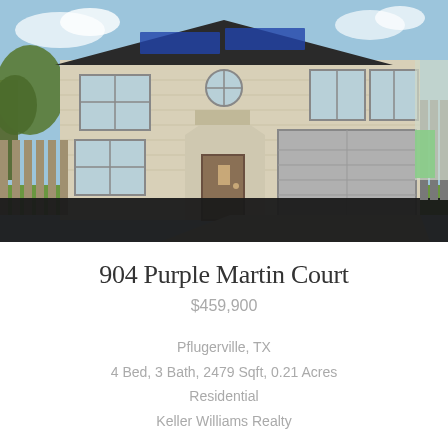[Figure (photo): Exterior photo of a two-story stone/brick residential home with solar panels on the roof, a two-car garage, arched entryway, multiple windows, green lawn, and a dark bottom banner overlay. Blue sky with clouds visible.]
904 Purple Martin Court
$459,900
Pflugerville, TX
4 Bed, 3 Bath, 2479 Sqft, 0.21 Acres
Residential
Keller Williams Realty